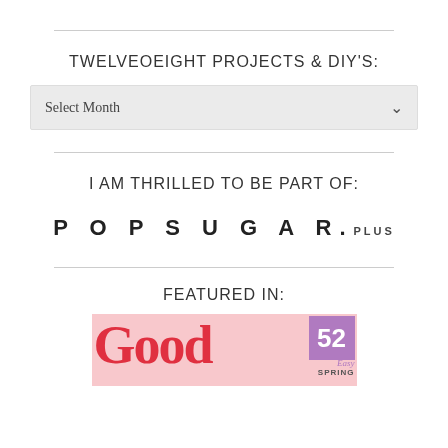TWELVEOEIGHT PROJECTS & DIY'S:
Select Month
I AM THRILLED TO BE PART OF:
[Figure (logo): POPSUGAR.PLUS logo in bold spaced letters]
FEATURED IN:
[Figure (photo): Good Housekeeping magazine cover with red title 'Good', a person, and '52 Easy Spring' badge]